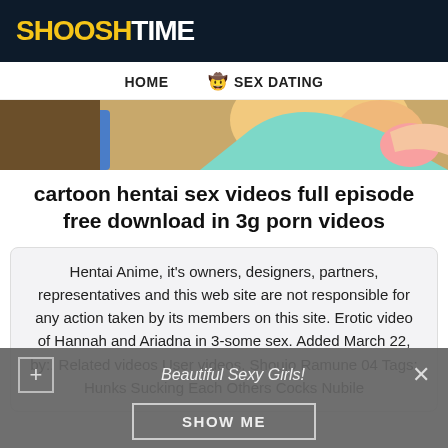SHOOSHTIME
HOME   🤠 SEX DATING
[Figure (illustration): Partial anime/cartoon illustration showing colorful character art at top of page]
cartoon hentai sex videos full episode free download in 3g porn videos
Hentai Anime, it's owners, designers, partners, representatives and this web site are not responsible for any action taken by its members on this site. Erotic video of Hannah and Ariadna in 3-some sex. Added March 22, by:. Related videos User videos. Shoujo Ramune 04 Tags: Hunks Sucking Each Others Cocks Nubile
Beautiful Sexy Girls!
SHOW ME